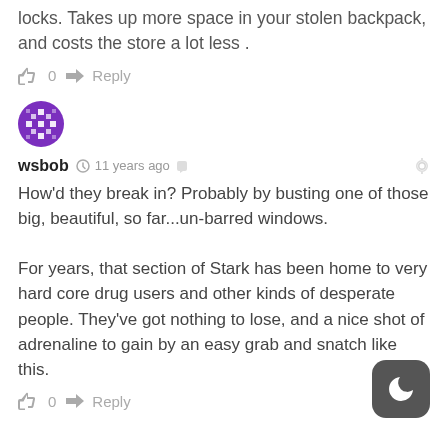locks. Takes up more space in your stolen backpack, and costs the store a lot less .
0   Reply
[Figure (illustration): User avatar for wsbob - circular pixelated purple and white pattern]
wsbob  🕐 11 years ago  🔗
How'd they break in? Probably by busting one of those big, beautiful, so far...un-barred windows.

For years, that section of Stark has been home to very hard core drug users and other kinds of desperate people. They've got nothing to lose, and a nice shot of adrenaline to gain by an easy grab and snatch like this.
0   Reply